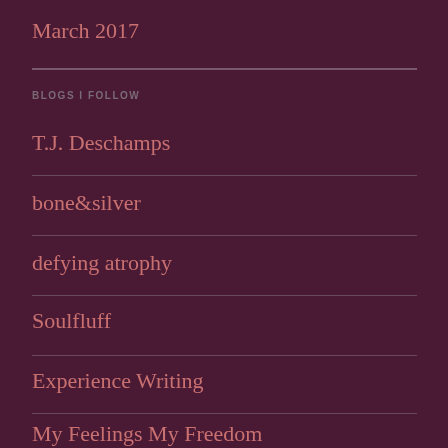March 2017
BLOGS I FOLLOW
T.J. Deschamps
bone&silver
defying atrophy
Soulfluff
Experience Writing
My Feelings My Freedom